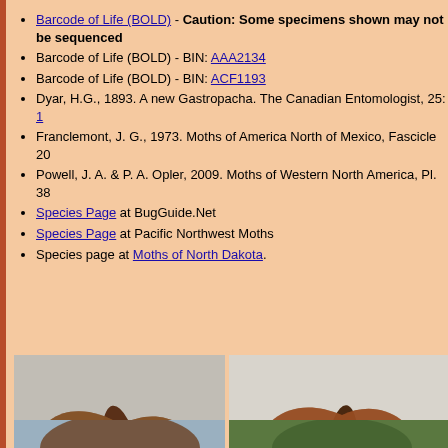Barcode of Life (BOLD) - Caution: Some specimens shown may not be sequenced
Barcode of Life (BOLD) - BIN: AAA2134
Barcode of Life (BOLD) - BIN: ACF1193
Dyar, H.G., 1893. A new Gastropacha. The Canadian Entomologist, 25: 1
Franclemont, J. G., 1973. Moths of America North of Mexico, Fascicle 20
Powell, J. A. & P. A. Opler, 2009. Moths of Western North America, Pl. 38
Species Page at BugGuide.Net
Species Page at Pacific Northwest Moths
Species page at Moths of North Dakota.
[Figure (photo): Brown moth resting on a rough grey surface, wings folded flat showing leaf-like camouflage pattern]
© Anthony W. Thomas
[Figure (photo): Brown moth resting on a pale surface, wings spread slightly, showing reddish-brown coloration with darker spots]
© John Davis
[Figure (photo): Partial view of moth specimen at bottom left, on grey background]
[Figure (photo): Partial view of moth specimen at bottom right, on green background]